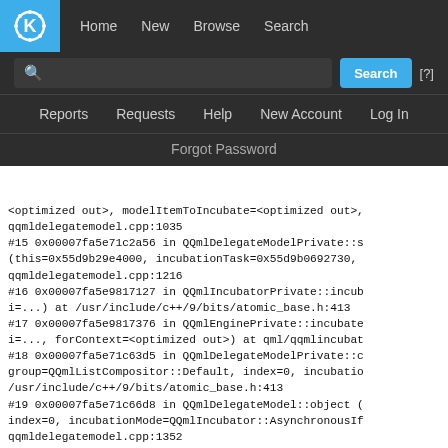KDE Bugtracker navigation: Home, New, Browse, Search, Reports, Requests, Help, New Account, Log In, Forgot Password
<optimized out>, modelItemToIncubate=<optimized out>,
qqmldelegatemodel.cpp:1035
#15 0x00007fa5e71c2a56 in QQmlDelegateModelPrivate::s
(this=0x55d9b29e4000, incubationTask=0x55d9b0692730,
qqmldelegatemodel.cpp:1216
#16 0x00007fa5e9817127 in QQmlIncubatorPrivate::incub
i=...) at /usr/include/c++/9/bits/atomic_base.h:413
#17 0x00007fa5e9817376 in QQmlEnginePrivate::incubate
i=..., forContext=<optimized out>) at qml/qqmlincubat
#18 0x00007fa5e71c63d5 in QQmlDelegateModelPrivate::c
group=QQmlListCompositor::Default, index=0, incubatio
/usr/include/c++/9/bits/atomic_base.h:413
#19 0x00007fa5e71c66d8 in QQmlDelegateModel::object (
index=0, incubationMode=QQmlIncubator::AsynchronousIf
qqmldelegatemodel.cpp:1352
#20 0x00007fa5e9e2f536 in QQuickItemViewPrivate::crea
modelIndex=0, incubationMode=QQmlIncubator::Asynchron